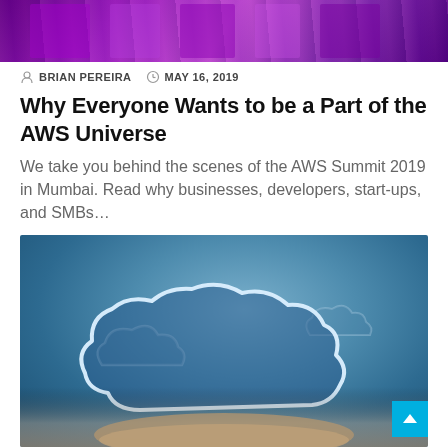[Figure (photo): Top banner photo showing colorful purple/magenta illuminated display or event background]
BRIAN PEREIRA  MAY 16, 2019
Why Everyone Wants to be a Part of the AWS Universe
We take you behind the scenes of the AWS Summit 2019 in Mumbai. Read why businesses, developers, start-ups, and SMBs...
[Figure (photo): Photo of a hand holding glowing cloud computing icons/symbols against a blue gradient background]
BRIAN PEREIRA  MAY 10, 2019